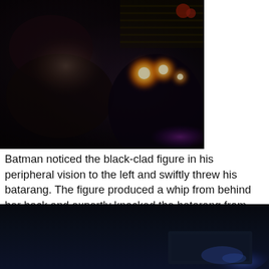[Figure (photo): Dark, dimly lit photo of figures in a room, illuminated by candlelight with warm orange/amber glow from candles in the background. Scene appears intimate and shadowy.]
Batman noticed the black-clad figure in his peripheral vision to the left and swiftly threw his batarang. The figure produced a whip from behind her back and expertly knocked the batarang from the air. The female lunged toward The Dark Knight, arms spread. Batman quickly grasped her small wrists, but paid no attention to the legs that wrapped securely around his torso.
[Figure (photo): Very dark, nearly black image with dark blue tones. Appears to show a dark interior or vehicle interior with faint blue-tinted light visible at the right edge.]